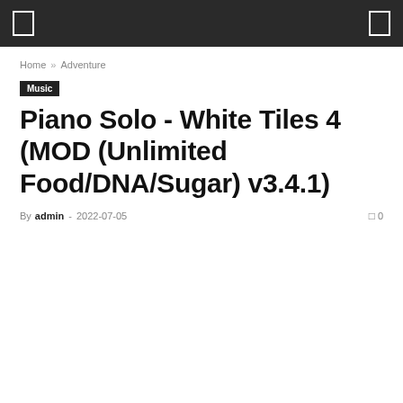[ ] ... [ ]
Home » Adventure
Music
Piano Solo - White Tiles 4 (MOD (Unlimited Food/DNA/Sugar) v3.4.1)
By admin - 2022-07-05  0